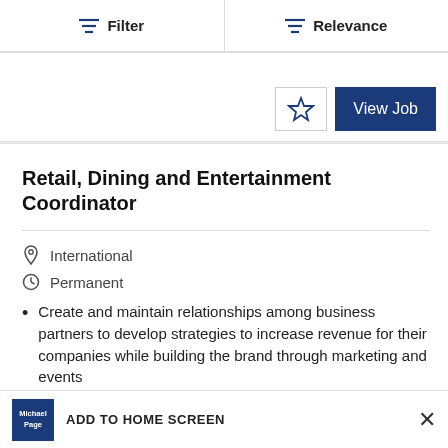Filter   Relevance
[Figure (screenshot): Partial job card showing View Job button and star/bookmark icon]
Retail, Dining and Entertainment Coordinator
International
Permanent
Create and maintain relationships among business partners to develop strategies to increase revenue for their companies while building the brand through marketing and events
ADD TO HOME SCREEN